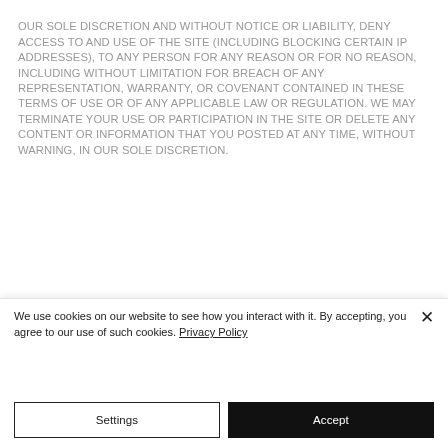OUR SOLE DISCRETION AND WITHOUT NOTICE OR LIABILITY, DENY ACCESS TO AND USE OF THE SITE (INCLUDING BLOCKING CERTAIN IP ADDRESSES), TO ANY PERSON FOR ANY REASON OR FOR NO REASON, INCLUDING WITHOUT LIMITATION FOR BREACH OF ANY REPRESENTATION, WARRANTY, OR COVENANT CONTAINED IN THESE TERMS OF USE OR OF ANY APPLICABLE LAW OR REGULATION. WE MAY TERMINATE YOUR USE OR PARTICIPATION IN THE SITE OR DELETE ANY CONTENT OR INFORMATION THAT YOU POSTED AT ANY TIME, WITHOUT WARNING, IN OUR SOLE DISCRETION.
We use cookies on our website to see how you interact with it. By accepting, you agree to our use of such cookies. Privacy Policy
Settings
Accept